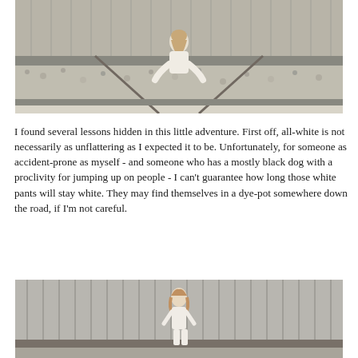[Figure (photo): A woman in all-white outfit sitting on railway gravel/rocks beside train tracks, with a corrugated metal wall in the background.]
I found several lessons hidden in this little adventure. First off, all-white is not necessarily as unflattering as I expected it to be. Unfortunately, for someone as accident-prone as myself - and someone who has a mostly black dog with a proclivity for jumping up on people - I can't guarantee how long those white pants will stay white. They may find themselves in a dye-pot somewhere down the road, if I'm not careful.
[Figure (photo): A woman in an all-white outfit standing in front of a corrugated metal freight train car, with railway tracks visible in the foreground.]